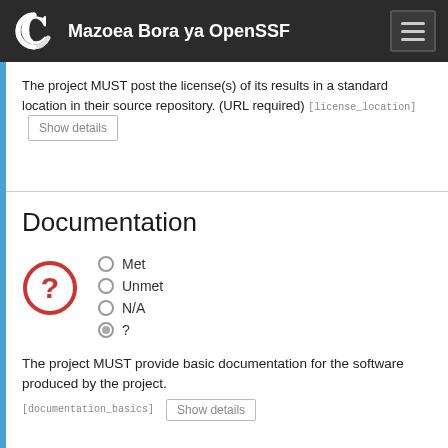Mazoea Bora ya OpenSSF
The project MUST post the license(s) of its results in a standard location in their source repository. (URL required) [license_location]
Documentation
Met
Unmet
N/A
?
The project MUST provide basic documentation for the software produced by the project. [documentation_basics]